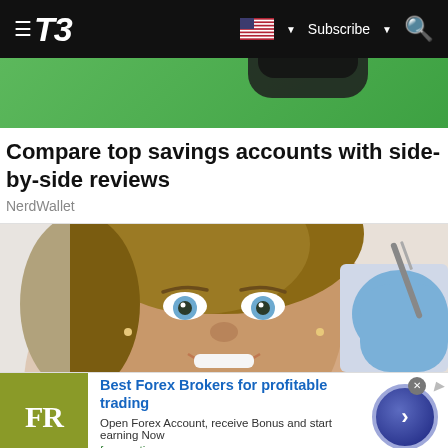T3 — Subscribe
[Figure (photo): Green banner with dark device partially visible at top]
Compare top savings accounts with side-by-side reviews
NerdWallet
[Figure (photo): Close-up photo of a smiling young woman with blue eyes at a dental clinic, with a gloved hand holding dental instrument visible]
[Figure (infographic): Advertisement: Best Forex Brokers for profitable trading. FR logo on olive/green square. Text: Open Forex Account, receive Bonus and start earning Now. forex-ratings.com. Blue circle CTA button with arrow.]